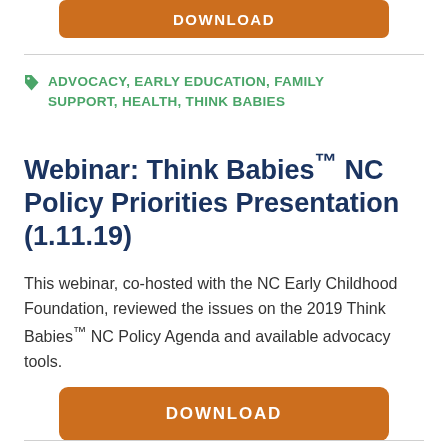[Figure (other): Orange download button at top of page]
ADVOCACY, EARLY EDUCATION, FAMILY SUPPORT, HEALTH, THINK BABIES
Webinar: Think Babies™ NC Policy Priorities Presentation (1.11.19)
This webinar, co-hosted with the NC Early Childhood Foundation, reviewed the issues on the 2019 Think Babies™ NC Policy Agenda and available advocacy tools.
[Figure (other): Orange download button at bottom of page]